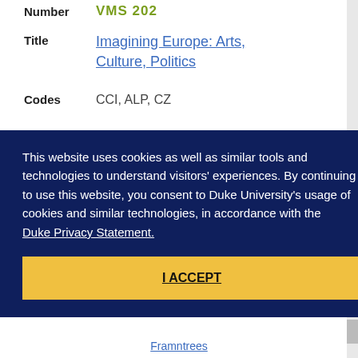Number    VMS 202
Title    Imagining Europe: Arts, Culture, Politics
Codes    CCI, ALP, CZ
This website uses cookies as well as similar tools and technologies to understand visitors' experiences. By continuing to use this website, you consent to Duke University's usage of cookies and similar technologies, in accordance with the Duke Privacy Statement.
I ACCEPT
Framntrees